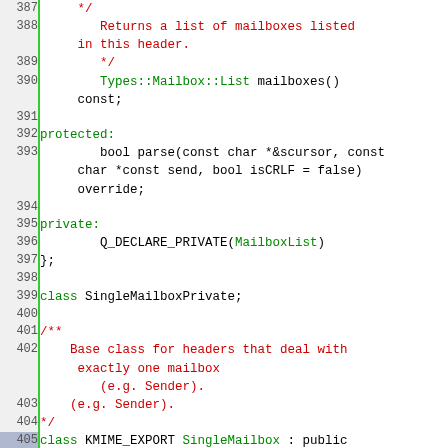[Figure (screenshot): Source code viewer showing C++ header file lines 387-413, with line numbers in gray gutter separated by green border. Code uses monospace font with syntax highlighting: red for comments, green for class/type names, black for keywords and symbols.]